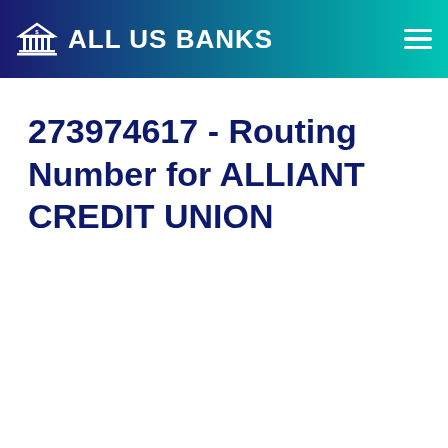ALL US BANKS
273974617 - Routing Number for ALLIANT CREDIT UNION